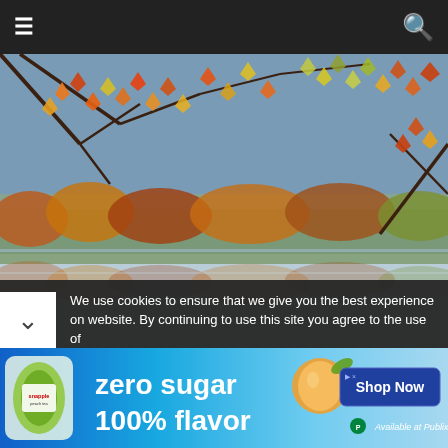☰  🔍
[Figure (photo): Autumn fall foliage scene with orange, red, and yellow maple leaves over a calm reflective lake, with bare tree branches visible at top]
Weelunk Weekender
👤 LeeRoy  🕐 October 15, 2015
The weather will cool down in Wheeling this weekend, but things are still "hot" on the to-do scene.  DO SOMETHING.  Boo at the Zoo Friday - Sunday Don't miss this special opportunity to dress
We use cookies to ensure that we give you the best experience on website. By continuing to use this site you agree to the use of
[Figure (other): Advertisement banner for Snapple zero sugar 100% flavor with Shop Now button and Available at Publix label]